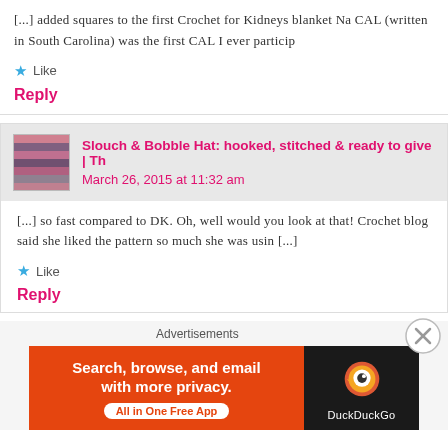[...] added squares to the first Crochet for Kidneys blanket Na CAL (written in South Carolina) was the first CAL I ever particip
Like
Reply
Slouch & Bobble Hat: hooked, stitched & ready to give  | Th
March 26, 2015 at 11:32 am
[...] so fast compared to DK.  Oh, well would you look at that! Crochet blog said she liked the pattern so much she was usin [...]
Like
Reply
Advertisements
[Figure (infographic): DuckDuckGo advertisement banner: orange left section with text 'Search, browse, and email with more privacy. All in One Free App' and dark right section with DuckDuckGo logo and text.]